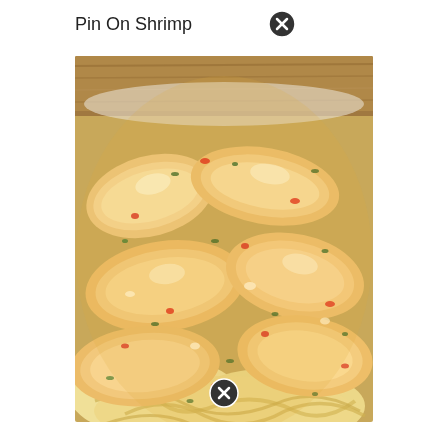Pin On Shrimp
[Figure (photo): Close-up photo of cooked shrimp with herbs and spices on pasta, viewed from above at an angle. The shrimp are lightly seasoned with green herbs and red pepper pieces, served over pasta noodles.]